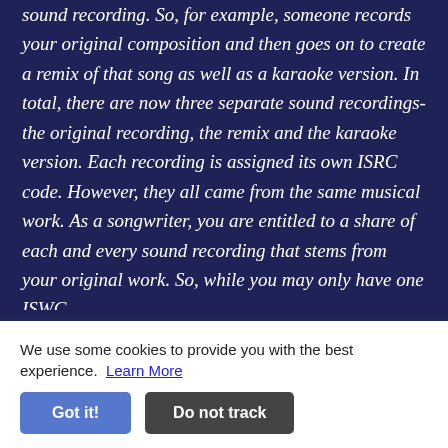sound recording. So, for example, someone records your original composition and then goes on to create a remix of that song as well as a karaoke version. In total, there are now three separate sound recordings- the original recording, the remix and the karaoke version. Each recording is assigned its own ISRC code. However, they all came from the same musical work. As a songwriter, you are entitled to a share of each and every sound recording that stems from your original work. So, while you may only have one ISWC
for your composition, this ISWC will be embedded into multiple sound recordings, each with their own unique ISRC codes. This is why, within your Songtr account, we [allow you to link] amount of ISRC with your composition, but only allow one ISWC
We use some cookies to provide you with the best experience. Learn More
Got it!  Do not track